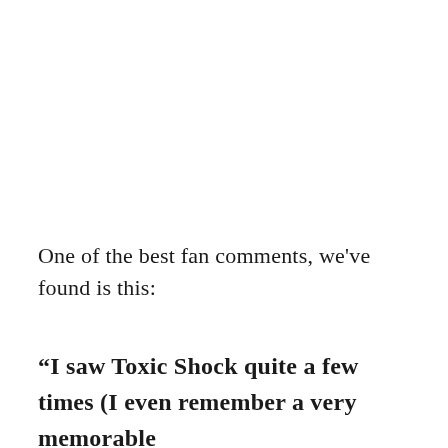One of the best fan comments, we've found is this:
“I saw Toxic Shock quite a few times (I even remember a very memorable